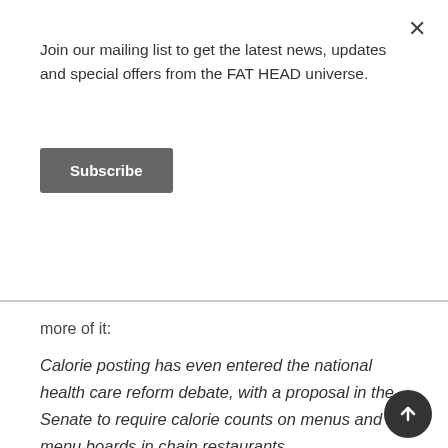Join our mailing list to get the latest news, updates and special offers from the FAT HEAD universe.
Subscribe
more of it:
Calorie posting has even entered the national health care reform debate, with a proposal in the Senate to require calorie counts on menus and menu boards in chain restaurants.
Anyone want to place odds on the likelihood that the Senate will see what happened in New York and conclude that menu laws are a waste of time and money?  I'll bet you dollars to donuts they don't —